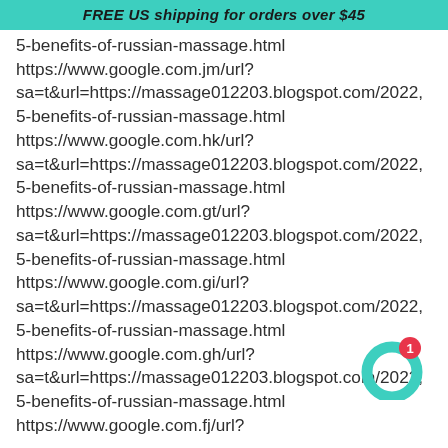FREE US shipping for orders over $45
5-benefits-of-russian-massage.html https://www.google.com.jm/url? sa=t&url=https://massage012203.blogspot.com/2022/ 5-benefits-of-russian-massage.html https://www.google.com.hk/url? sa=t&url=https://massage012203.blogspot.com/2022/ 5-benefits-of-russian-massage.html https://www.google.com.gt/url? sa=t&url=https://massage012203.blogspot.com/2022/ 5-benefits-of-russian-massage.html https://www.google.com.gi/url? sa=t&url=https://massage012203.blogspot.com/2022/ 5-benefits-of-russian-massage.html https://www.google.com.gh/url? sa=t&url=https://massage012203.blogspot.com/2022/ 5-benefits-of-russian-massage.html https://www.google.com.fj/url?
[Figure (other): Teal/green notification bell icon with red badge showing number 1]